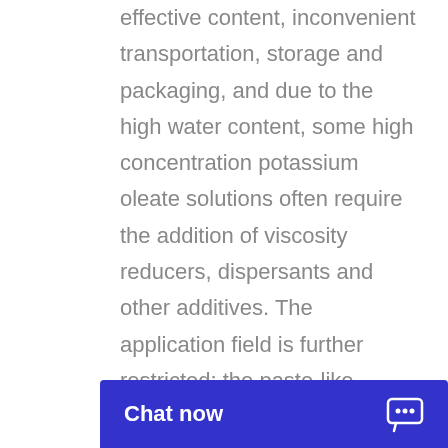effective content, inconvenient transportation, storage and packaging, and due to the high water content, some high concentration potassium oleate solutions often require the addition of viscosity reducers, dispersants and other additives. The application field is further restricted; the paste-like potassium oleate and the creamy potassium oleate have higher active ingredients.
3. This product is used as an em... the...